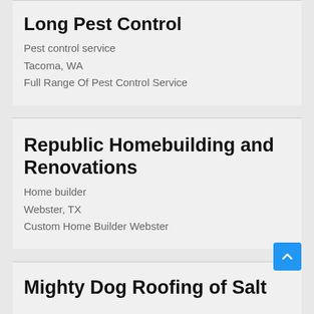Long Pest Control
Pest control service
Tacoma, WA
Full Range Of Pest Control Service
Republic Homebuilding and Renovations
Home builder
Webster, TX
Custom Home Builder Webster
Mighty Dog Roofing of Salt